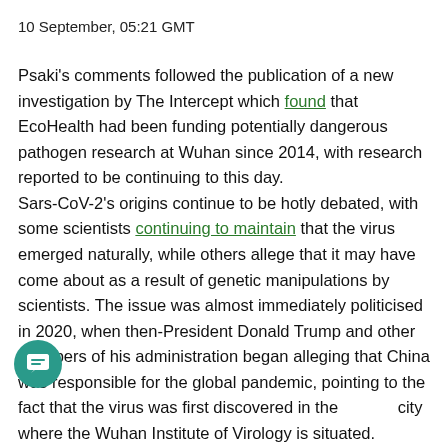10 September, 05:21 GMT
Psaki's comments followed the publication of a new investigation by The Intercept which found that EcoHealth had been funding potentially dangerous pathogen research at Wuhan since 2014, with research reported to be continuing to this day. Sars-CoV-2's origins continue to be hotly debated, with some scientists continuing to maintain that the virus emerged naturally, while others allege that it may have come about as a result of genetic manipulations by scientists. The issue was almost immediately politicised in 2020, when then-President Donald Trump and other members of his administration began alleging that China was responsible for the global pandemic, pointing to the fact that the virus was first discovered in the city where the Wuhan Institute of Virology is situated. Beijing responded by alleging that the US military may have brought the virus to Wuhan during the 2019 World Army